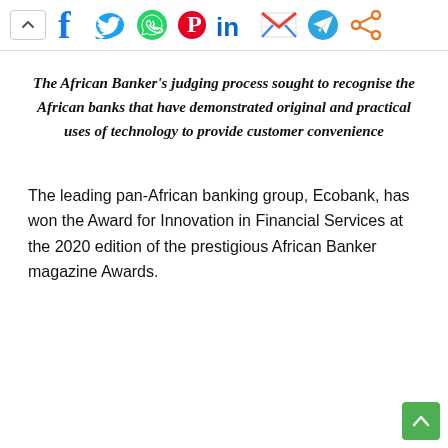[Figure (infographic): Social media share icons row: Facebook (blue f), Twitter (blue bird), WhatsApp (green phone), Pinterest (red P), LinkedIn (blue 'in'), Gmail (red M envelope), Telegram (blue paper plane), Share (orange/red network icon)]
The African Banker's judging process sought to recognise the African banks that have demonstrated original and practical uses of technology to provide customer convenience
The leading pan-African banking group, Ecobank, has won the Award for Innovation in Financial Services at the 2020 edition of the prestigious African Banker magazine Awards.